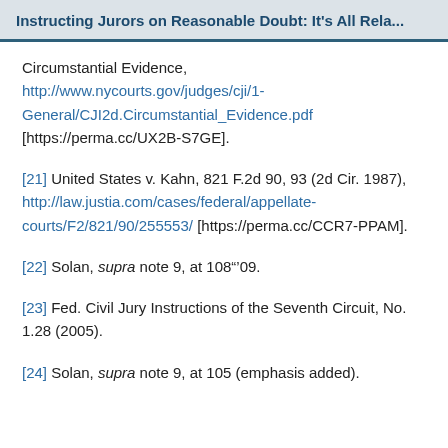Instructing Jurors on Reasonable Doubt: It's All Rela...
Circumstantial Evidence, http://www.nycourts.gov/judges/cji/1-General/CJI2d.Circumstantial_Evidence.pdf [https://perma.cc/UX2B-S7GE].
[21] United States v. Kahn, 821 F.2d 90, 93 (2d Cir. 1987), http://law.justia.com/cases/federal/appellate-courts/F2/821/90/255553/ [https://perma.cc/CCR7-PPAM].
[22] Solan, supra note 9, at 108–09.
[23] Fed. Civil Jury Instructions of the Seventh Circuit, No. 1.28 (2005).
[24] Solan, supra note 9, at 105 (emphasis added).